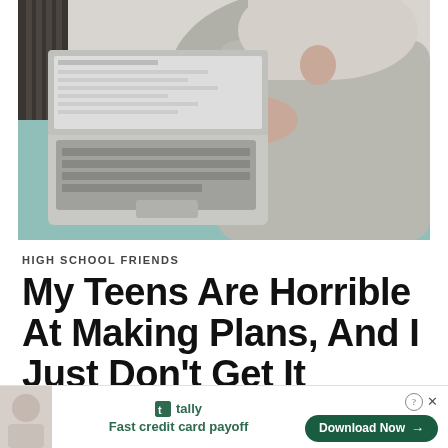[Figure (photo): Young woman with blonde hair lying on a teal/mint bedspread, using a silver laptop, wearing a grey knit sweater, thoughtfully touching her chin with one hand. Dark radiator visible in background.]
HIGH SCHOOL FRIENDS
My Teens Are Horrible At Making Plans, And I Just Don't Get It
[Figure (infographic): Advertisement bar: Tally app ad with logo, tagline 'Fast credit card payoff', Download Now button with arrow, close/question mark icons. Small thumbnail image on left.]